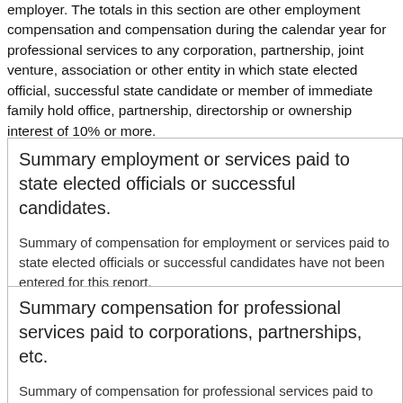employer. The totals in this section are other employment compensation and compensation during the calendar year for professional services to any corporation, partnership, joint venture, association or other entity in which state elected official, successful state candidate or member of immediate family hold office, partnership, directorship or ownership interest of 10% or more.
Summary employment or services paid to state elected officials or successful candidates.
Summary of compensation for employment or services paid to state elected officials or successful candidates have not been entered for this report.
Summary compensation for professional services paid to corporations, partnerships, etc.
Summary of compensation for professional services paid to corporations, partnerships, etc have not been entered for this report.